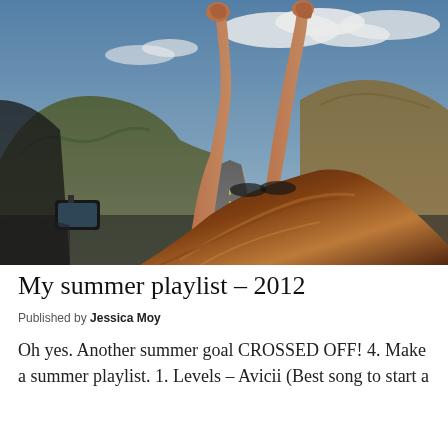[Figure (photo): A person leaning out of a car window with arms raised against a blue sky with hills and a highway in the background, view from inside the car]
My summer playlist – 2012
Published by Jessica Moy
Oh yes. Another summer goal CROSSED OFF! 4. Make a summer playlist. 1. Levels – Avicii (Best song to start a